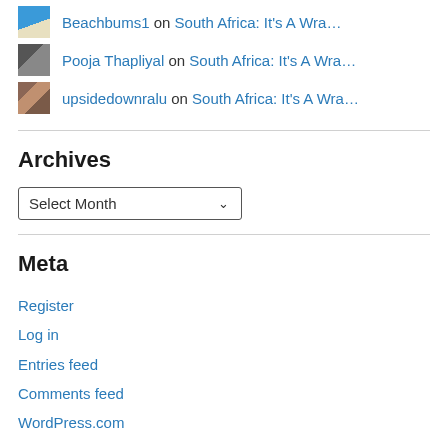Beachbums1 on South Africa: It's A Wra…
Pooja Thapliyal on South Africa: It's A Wra…
upsidedownralu on South Africa: It's A Wra…
Archives
Select Month
Meta
Register
Log in
Entries feed
Comments feed
WordPress.com